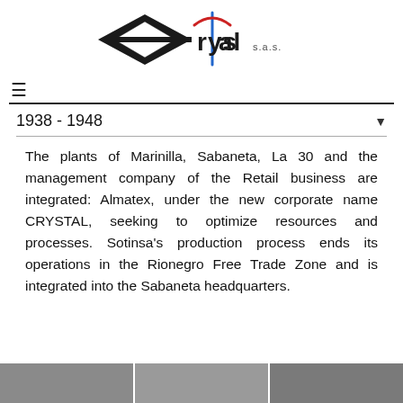[Figure (logo): Crystal S.A.S. company logo with diamond shape and needle icon]
≡
1938 - 1948
The plants of Marinilla, Sabaneta, La 30 and the management company of the Retail business are integrated: Almatex, under the new corporate name CRYSTAL, seeking to optimize resources and processes. Sotinsa's production process ends its operations in the Rionegro Free Trade Zone and is integrated into the Sabaneta headquarters.
[Figure (photo): Strip of photos at the bottom of the page showing people]